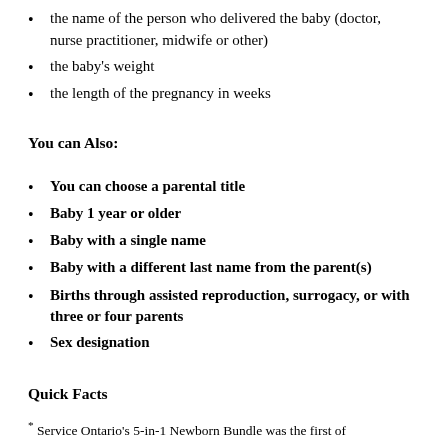the name of the person who delivered the baby (doctor, nurse practitioner, midwife or other)
the baby's weight
the length of the pregnancy in weeks
You can Also:
You can choose a parental title
Baby 1 year or older
Baby with a single name
Baby with a different last name from the parent(s)
Births through assisted reproduction, surrogacy, or with three or four parents
Sex designation
Quick Facts
* Service Ontario's 5-in-1 Newborn Bundle was the first of